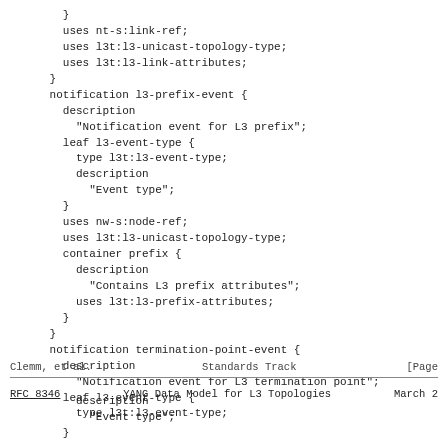}
        uses nt-s:link-ref;
        uses l3t:l3-unicast-topology-type;
        uses l3t:l3-link-attributes;
      }
      notification l3-prefix-event {
        description
          "Notification event for L3 prefix";
        leaf l3-event-type {
          type l3t:l3-event-type;
          description
            "Event type";
        }
        uses nw-s:node-ref;
        uses l3t:l3-unicast-topology-type;
        container prefix {
          description
            "Contains L3 prefix attributes";
          uses l3t:l3-prefix-attributes;
        }
      }
      notification termination-point-event {
        description
          "Notification event for L3 termination point";
        leaf l3-event-type {
          type l3t:l3-event-type;
Clemm, et al.               Standards Track                    [Page
RFC 8346          YANG Data Model for L3 Topologies          March 2
description
            "Event type";
        }